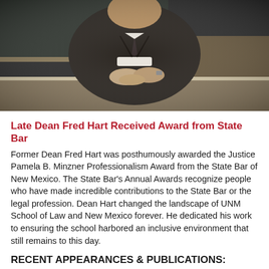[Figure (photo): Black and white photo of a man in a dark suit leaning forward with hands clasped on a desk or podium, facing the camera. Background appears to be a classroom or lecture hall with a chalkboard.]
Late Dean Fred Hart Received Award from State Bar
Former Dean Fred Hart was posthumously awarded the Justice Pamela B. Minzner Professionalism Award from the State Bar of New Mexico. The State Bar's Annual Awards recognize people who have made incredible contributions to the State Bar or the legal profession. Dean Hart changed the landscape of UNM School of Law and New Mexico forever. He dedicated his work to ensuring the school harbored an inclusive environment that still remains to this day.
RECENT APPEARANCES & PUBLICATIONS: